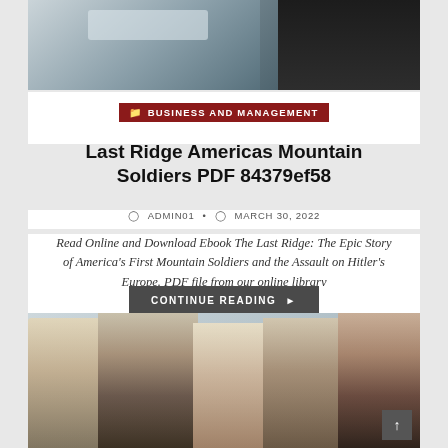[Figure (photo): Top partial photo of business person in dark suit with laptop in background]
BUSINESS AND MANAGEMENT
Last Ridge Americas Mountain Soldiers PDF 84379ef58
ADMIN01  •  MARCH 30, 2022
Read Online and Download Ebook The Last Ridge: The Epic Story of America's First Mountain Soldiers and the Assault on Hitler's Europe. PDF file from our online library
CONTINUE READING ▸
[Figure (photo): Bottom photo showing group of five smiling business professionals of diverse backgrounds]